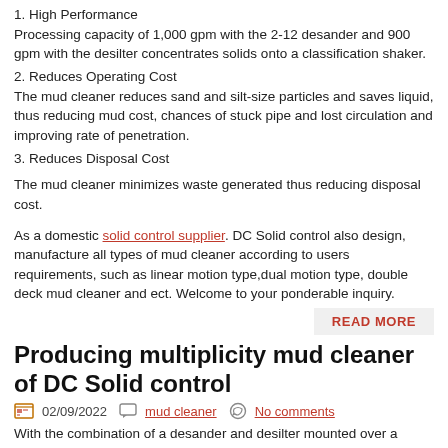1. High Performance
Processing capacity of 1,000 gpm with the 2-12 desander and 900 gpm with the desilter concentrates solids onto a classification shaker.
2. Reduces Operating Cost
The mud cleaner reduces sand and silt-size particles and saves liquid, thus reducing mud cost, chances of stuck pipe and lost circulation and improving rate of penetration.
3. Reduces Disposal Cost
The mud cleaner minimizes waste generated thus reducing disposal cost.
As a domestic solid control supplier. DC Solid control also design, manufacture all types of mud cleaner according to users requirements, such as linear motion type,dual motion type, double deck mud cleaner and ect. Welcome to your ponderable inquiry.
READ MORE
Producing multiplicity mud cleaner of DC Solid control
02/09/2022  mud cleaner  No comments
With the combination of a desander and desilter mounted over a powerful